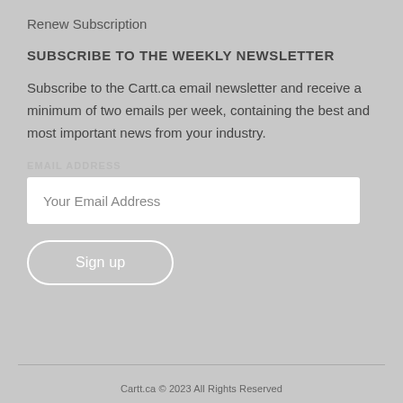Renew Subscription
SUBSCRIBE TO THE WEEKLY NEWSLETTER
Subscribe to the Cartt.ca email newsletter and receive a minimum of two emails per week, containing the best and most important news from your industry.
EMAIL ADDRESS
Your Email Address
Sign up
Cartt.ca © 2023 All Rights Reserved